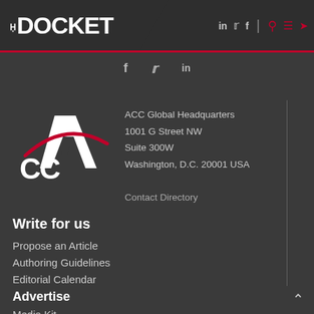THE DOCKET — navigation header with social icons: linkedin, twitter, facebook, search, menu, share
[Figure (logo): ACC logo — white letter A with red arc, text ACC]
ACC Global Headquarters
1001 G Street NW
Suite 300W
Washington, D.C. 20001 USA
Contact Directory
Write for us
Propose an Article
Authoring Guidelines
Editorial Calendar
Advertise
Media Kit
Sponsored Content
ACC
Join ACC